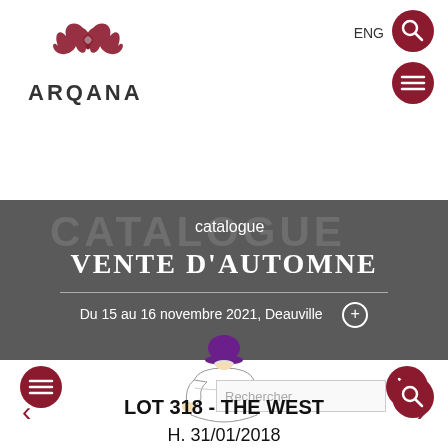[Figure (logo): ARQANA logo with stylized flame/bird crest above the text ARQANA]
ENG
[Figure (illustration): Crimson circle with magnifying glass icon (search)]
[Figure (illustration): Crimson circle with hamburger menu icon]
catalogue
VENTE D'AUTOMNE
Du 15 au 16 novembre 2021, Deauville   +
[Figure (illustration): Jockey silhouette illustration: white jersey with purple helmet, viewed from behind]
[Figure (illustration): Crimson circle with hamburger menu icon (left nav)]
[Figure (illustration): Crimson circle with X close icon (right nav)]
Rechercher
[Figure (illustration): Crimson circle with magnifying glass icon (search)]
LOT 318 - THE WEST
H. 31/01/2018
Présenté par Mikel Delzangles
[Figure (illustration): Left chevron arrow navigation]
[Figure (illustration): Right chevron arrow navigation]